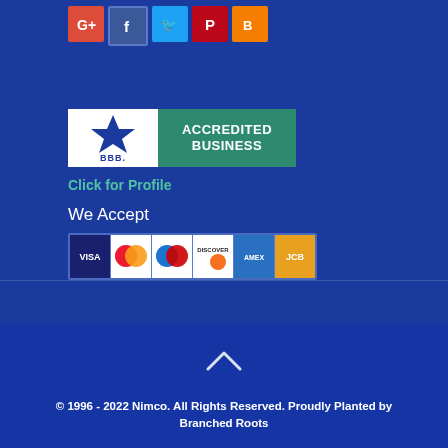[Figure (other): Social media icons row: Google+, Facebook, Twitter, Pinterest, Blogger]
[Figure (logo): BBB Accredited Business badge with teal right panel]
Click for Profile
We Accept
[Figure (other): Payment method icons: Visa, Mastercard, Maestro, Discover, American Express, JCB]
[Figure (other): Up arrow chevron icon]
© 1996 - 2022 Nimco. All Rights Reserved. Proudly Planted by Branched Roots